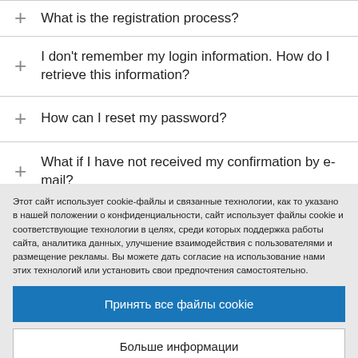What is the registration process?
I don't remember my login information. How do I retrieve this information?
How can I reset my password?
What if I have not received my confirmation by e-mail?
Этот сайт использует cookie-файлы и связанные технологии, как то указано в нашей положении о конфиденциальности, сайт использует файлы cookie и соответствующие технологии в целях, среди которых поддержка работы сайта, аналитика данных, улучшение взаимодействия с пользователями и размещение рекламы. Вы можете дать согласие на использование нами этих технологий или установить свои предпочтения самостоятельно.
Принять все файлы cookie
Больше информации
Политика конфиденциальности | На платформе: TrustArc